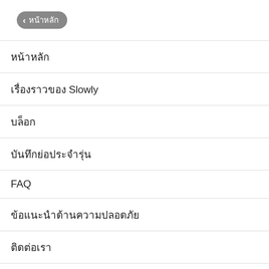‹ หน้าหลัก
หน้าหลัก
เรื่องราวของ Slowly
บล็อก
บันทึกย่อประจำรุ่น
FAQ
ข้อแนะนำด้านความปลอดภัย
ติดต่อเรา
© 2022 Slowly Communications Ltd
ข้อตกลงการให้บริการ    นโยบายความเป็นส่วนตัว
Special Thanks 🧡